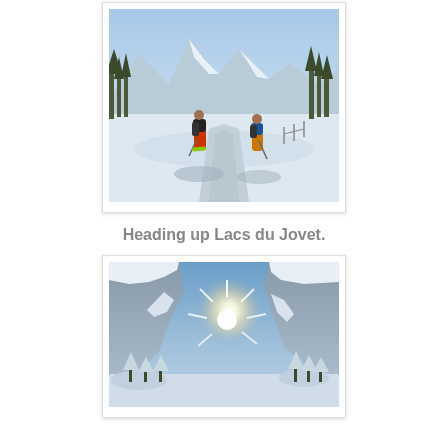[Figure (photo): Two skiers with backpacks walking up a snow-covered trail in an alpine valley. Both wear colorful gear (orange pants). Snowy mountains and trees visible in background. Blue sky and bright sunlight.]
Heading up Lacs du Jovet.
[Figure (photo): Dramatic mountain scene with bright sunburst shining over snow-covered rocky peaks. Snow-laden trees in foreground and valley below. Blue sky with lens flare effect from sun.]